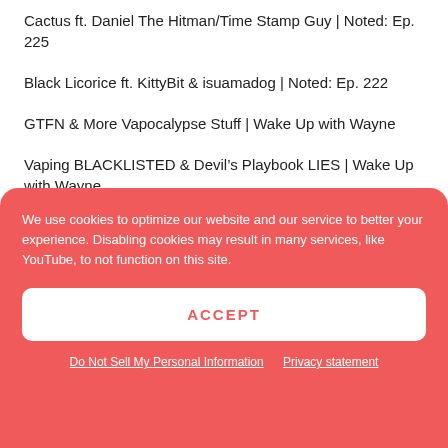Cactus ft. Daniel The Hitman/Time Stamp Guy | Noted: Ep. 225
Black Licorice ft. KittyBit & isuamadog | Noted: Ep. 222
GTFN & More Vapocalypse Stuff | Wake Up with Wayne
Vaping BLACKLISTED & Devil's Playbook LIES | Wake Up with Wayne
[Figure (other): Blue banner with white text reading JOIN THE followed by large bold text partially visible]
We use cookies to optimize our website and our service to better your experience. Disabling cookies may result in many services, like YouTube, to not function on this site.
ACCEPT
Do Not Sell My Personal Information   Privacy statement